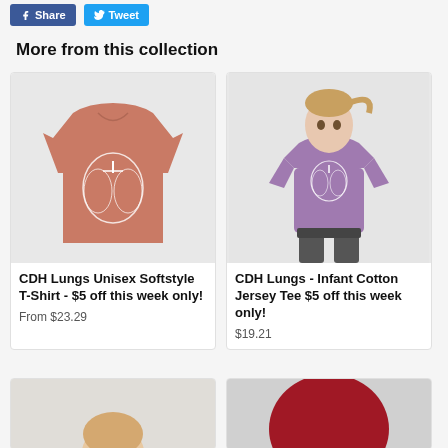[Figure (screenshot): Facebook Share and Twitter Tweet buttons at top of page]
More from this collection
[Figure (photo): Salmon/terracotta colored t-shirt with CDH lungs diagram graphic]
CDH Lungs Unisex Softstyle T-Shirt - $5 off this week only!
From $23.29
[Figure (photo): Toddler girl wearing purple t-shirt with CDH lungs diagram graphic]
CDH Lungs - Infant Cotton Jersey Tee $5 off this week only!
$19.21
[Figure (photo): Partial view of child product image (bottom row, left)]
[Figure (photo): Partial view of red/maroon product image (bottom row, right)]